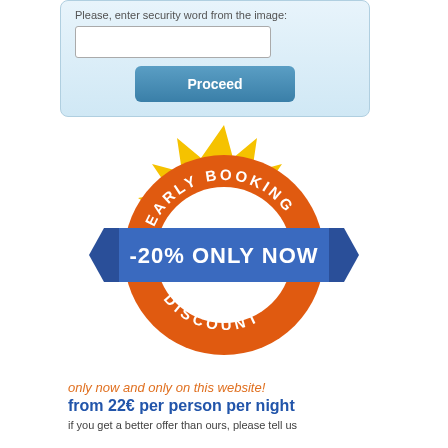Please, enter security word from the image:
[Figure (infographic): Early Booking Discount badge: yellow sunburst star shape with orange ring containing text 'EARLY BOOKING' at top and 'DISCOUNT' at bottom, white inner circle, and blue ribbon banner across the middle reading '-20% ONLY NOW']
only now and only on this website!
from 22€ per person per night
if you get a better offer than ours, please tell us